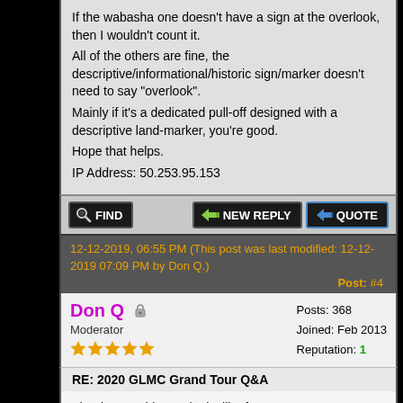If the wabasha one doesn't have a sign at the overlook, then I wouldn't count it.
All of the others are fine, the descriptive/informational/historic sign/marker doesn't need to say "overlook".
Mainly if it's a dedicated pull-off designed with a descriptive land-marker, you're good.
Hope that helps.
IP Address: 50.253.95.153
[Figure (screenshot): Forum button bar with FIND, NEW REPLY, and QUOTE buttons]
12-12-2019, 06:55 PM (This post was last modified: 12-12-2019 07:09 PM by Don Q.)
Post: #4
Don Q
Moderator
Posts: 368
Joined: Feb 2013
Reputation: 1
RE: 2020 GLMC Grand Tour Q&A
Thank you. This one looks like fun. Iowa's Byways Brochure also lists overlooks along their routes. Not that I'm excited or anything.

Signed up as 2-up. Wasn't able to put in 2 shirt sizes.